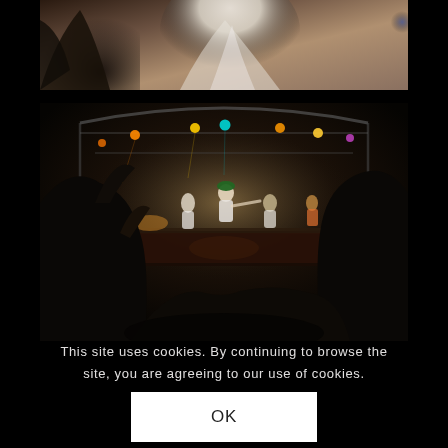[Figure (photo): Partial view of people in traditional/cultural dress, with one person in white robes prominently visible, cropped at the top of the page.]
[Figure (photo): Concert scene at night showing a stage with performers under arched metal rigging with colored lights, viewed from behind a dark silhouetted audience in the foreground.]
This site uses cookies. By continuing to browse the site, you are agreeing to our use of cookies.
OK